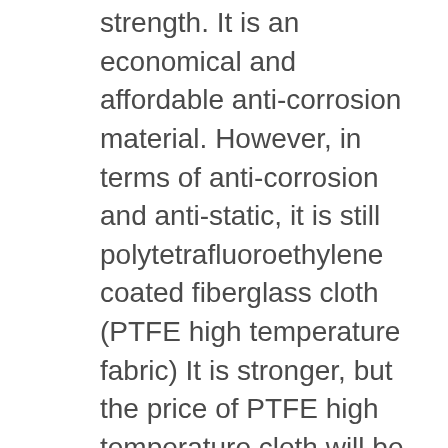strength. It is an economical and affordable anti-corrosion material. However, in terms of anti-corrosion and anti-static, it is still polytetrafluoroethylene coated fiberglass cloth (PTFE high temperature fabric) It is stronger, but the price of PTFE high temperature cloth will be much higher than that of silicone coated fiberglass fabric. If the economic cost allows, users can also use PTFE coated fiberglass cloth. Silicone coated fabrics is also a flexible material used to make fire curtains and smoke curtain. Generally, there are many thicknesses of smoke-proof hanging wall cloths, the thin type is 0.4mm, 0.5 mm, and the thick type is 0.7mm, 0.8 mm. Fireproof silicone coated glass fabric is also widely used in electric welding and fire protection, such as shipbuilding, large steel structure and power maintenance on-site welding protection, gas cutting protective equipment, chemical industry, metallurgy, theaters and other ventilation and fire protection and protection products, such as fire blankets.